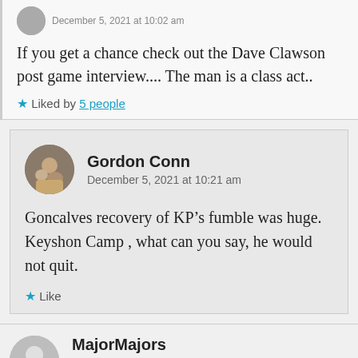If you get a chance check out the Dave Clawson post game interview.... The man is a class act..
Liked by 5 people
Gordon Conn
December 5, 2021 at 10:21 am
Goncalves recovery of KP’s fumble was huge. Keyshon Camp , what can you say, he would not quit.
Like
MajorMajors
December 5, 2021 at 10:28 am